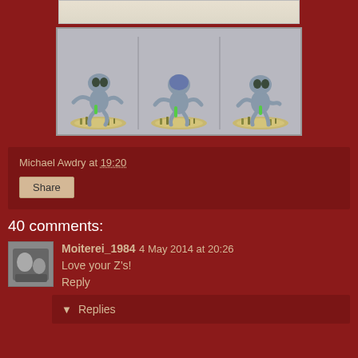[Figure (photo): Partial image at top of page, cut off — white/light background with faint shapes visible]
[Figure (photo): Three grey alien/zombie figurines on bases with tufted grass terrain, displayed side by side on a white background]
Michael Awdry at 19:20
Share
40 comments:
Moiterei_1984   4 May 2014 at 20:26
Love your Z's!
Reply
Replies